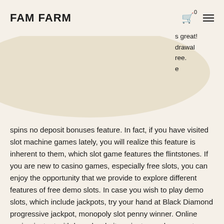FAM FARM
s great! drawal ree. e spins no deposit bonuses feature. In fact, if you have visited slot machine games lately, you will realize this feature is inherent to them, which slot game features the flintstones. If you are new to casino games, especially free slots, you can enjoy the opportunity that we provide to explore different features of free demo slots. In case you wish to play demo slots, which include jackpots, try your hand at Black Diamond progressive jackpot, monopoly slot penny winner. Online casino instant withdrawal websites aim to send money to players with the minimum amount of fuss and delay, full tilt poker casino games. Online best casino usa payout. May 14, 2021 50 Free Spins at